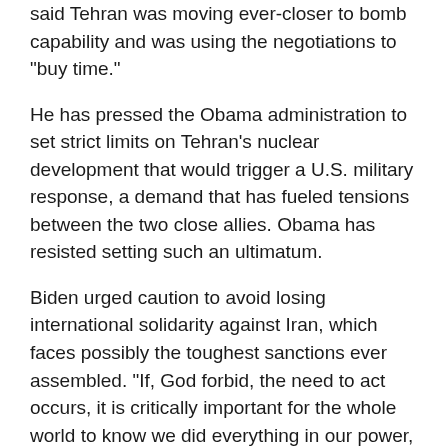said Tehran was moving ever-closer to bomb capability and was using the negotiations to "buy time."
He has pressed the Obama administration to set strict limits on Tehran's nuclear development that would trigger a U.S. military response, a demand that has fueled tensions between the two close allies. Obama has resisted setting such an ultimatum.
Biden urged caution to avoid losing international solidarity against Iran, which faces possibly the toughest sanctions ever assembled. "If, God forbid, the need to act occurs, it is critically important for the whole world to know we did everything in our power, we did everything that reasonably could have been expected to avoid any confrontation," Biden said.
He said there was still time for a diplomatic solution, though he warned "that window is closing."
After Biden's speech, AIPAC - which has not always seen eye-to-eye with the Obama administration - praised him for